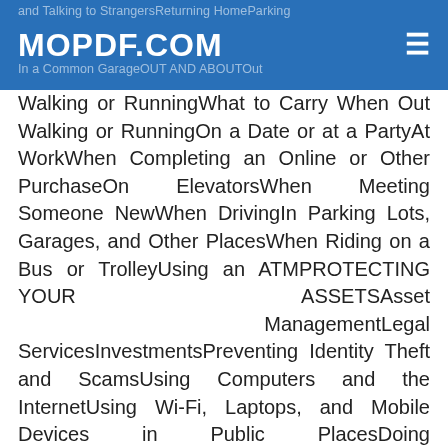MOPDF.COM
Walking or RunningWhat to Carry When Out Walking or RunningOn a Date or at a PartyAt WorkWhen Completing an Online or Other PurchaseOn ElevatorsWhen Meeting Someone NewWhen DrivingIn Parking Lots, Garages, and Other PlacesWhen Riding on a Bus or TrolleyUsing an ATMPROTECTING YOUR ASSETSAsset ManagementLegal ServicesInvestmentsPreventing Identity Theft and ScamsUsing Computers and the InternetUsing Wi-Fi, Laptops, and Mobile Devices in Public PlacesDoing BusinessBankingMail and Phone CallsIF YOU ARE A CRIME VICTIMThreats and AttacksStalkingDomestic ViolenceObtaining a TROHELPING TO STOP MEDICARE FRAUDOBAMACARE AND MEDICAEELDER AND DEPENDENT ADULT ABUSESigns of Elder